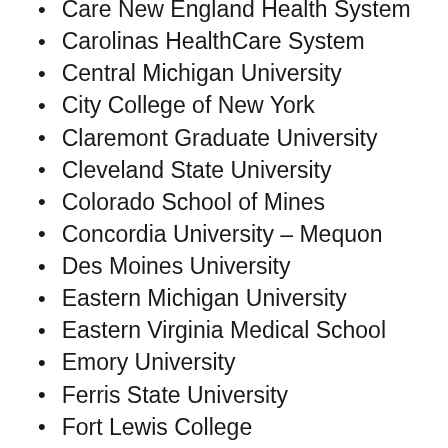Care New England Health System
Carolinas HealthCare System
Central Michigan University
City College of New York
Claremont Graduate University
Cleveland State University
Colorado School of Mines
Concordia University – Mequon
Des Moines University
Eastern Michigan University
Eastern Virginia Medical School
Emory University
Ferris State University
Fort Lewis College
George Washington University
Georgia Institute of Technology
Georgia State University